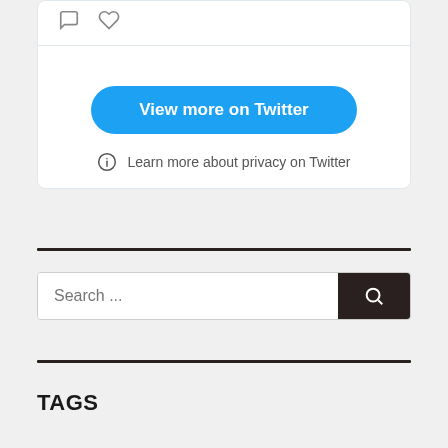[Figure (screenshot): Twitter widget card showing heart/comment icons, 'View more on Twitter' blue button, and privacy info link]
View more on Twitter
Learn more about privacy on Twitter
Search ...
TAGS